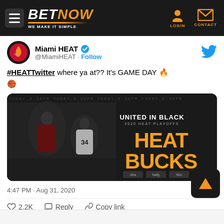BETNOW - WE MAKE IT SIMPLE - LOGIN - CONTACT
[Figure (screenshot): Miami HEAT Twitter post screenshot showing a tweet by @MiamiHEAT with verified badge and Follow button. Tweet text: '#HEATTwitter where ya at?? It's GAME DAY 🔥🏀' with an image of HEAT vs BUCKS playoff promotional graphic saying UNITED IN BLACK. Posted at 4:47 PM · Aug 31, 2020. 2.2K likes.]
#HEATTwitter where ya at?? It's GAME DAY 🔥🏀
4:47 PM · Aug 31, 2020
2.2K  Reply  Copy link